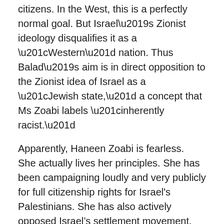citizens.  In the West, this is a perfectly normal goal. But Israel's Zionist ideology disqualifies it as a “Western” nation. Thus Balad’s aim is in direct opposition to the Zionist idea of Israel as a “Jewish state,” a concept that Ms Zoabi labels “inherently racist.”
Apparently, Haneen Zoabi is fearless.  She actually lives her principles. She has been campaigning loudly and very publicly for full citizenship rights for Israel's Palestinians. She has also actively opposed Israel’s settlement movement, occupation policies, and its siege of Gaza. That last effort led her to participate in the international flotilla that sought to break the Gaza siege in May of 2010. That was the time Israeli commandos attacked the Mavi Marmara in international waters, killing 9 Turkish activists who tried to resist the assault on their ship.
In a most right-dictating him, Ms Zoabi sold her principles...